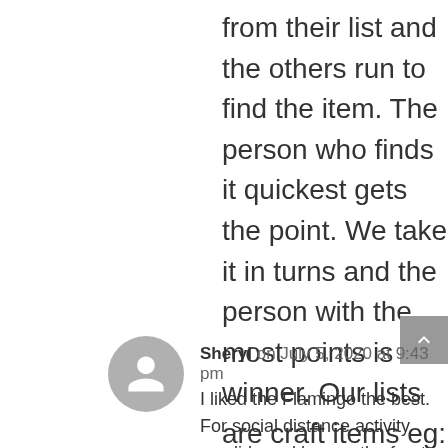from their list and the others run to find the item. The person who finds it quickest gets the point. We take it in turns and the person with the most points is the winner. Our lists are craft items eg: copic Y13 but you could do anything!
Sheryl on July 5, 2020 at 9:43 pm
I liked the Flamingo the best. For social distance activity we did sparklers on the front porch and watched neighbors do fireworks up on